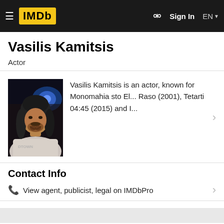[Figure (screenshot): IMDb website navigation bar with hamburger menu, IMDb logo in yellow, search icon, Sign In button, and EN language selector]
Vasilis Kamitsis
Actor
[Figure (photo): Photo of Vasilis Kamitsis, a man with long dark hair and beard, smiling, wearing a white shirt with text, photographed in dim lighting with a blue light in the background]
Vasilis Kamitsis is an actor, known for Monomahia sto El... Raso (2001), Tetarti 04:45 (2015) and I...
Contact Info
View agent, publicist, legal on IMDbPro
Filmography
Known For                                                          Actor